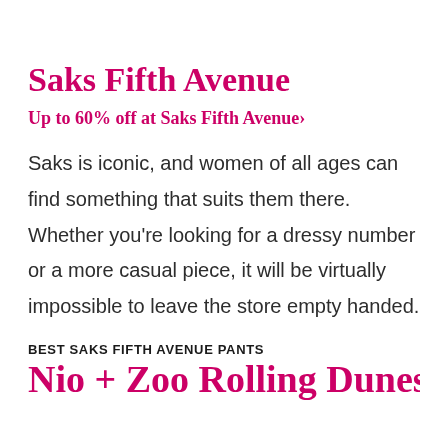Saks Fifth Avenue
Up to 60% off at Saks Fifth Avenue›
Saks is iconic, and women of all ages can find something that suits them there. Whether you're looking for a dressy number or a more casual piece, it will be virtually impossible to leave the store empty handed.
BEST SAKS FIFTH AVENUE PANTS
Nio + Zoo Rolling Dunes Wide